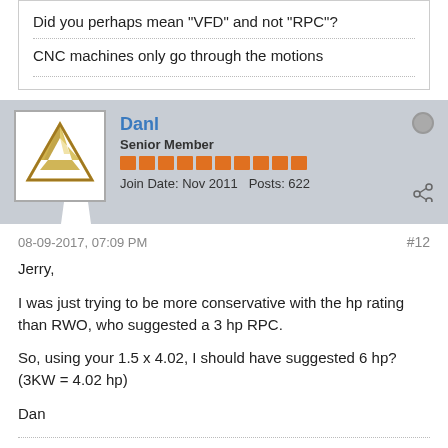Did you perhaps mean "VFD" and not "RPC"?
CNC machines only go through the motions
Danl
Senior Member
Join Date: Nov 2011   Posts: 622
08-09-2017, 07:09 PM
#12
Jerry,

I was just trying to be more conservative with the hp rating than RWO, who suggested a 3 hp RPC.

So, using your 1.5 x 4.02, I should have suggested 6 hp? (3KW = 4.02 hp)

Dan
Salem, Oregon